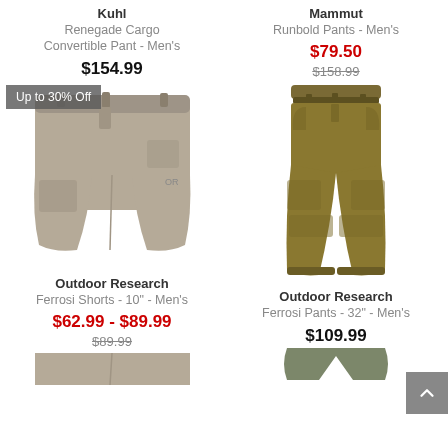Kuhl
Renegade Cargo Convertible Pant - Men's
$154.99
Mammut
Runbold Pants - Men's
$79.50
$158.99
[Figure (photo): Kuhl Renegade Cargo Convertible Pant - Men's khaki shorts with badge 'Up to 30% Off']
[Figure (photo): Mammut Runbold Pants - Men's olive/tan full-length pants]
Outdoor Research
Ferrosi Shorts - 10" - Men's
$62.99 - $89.99
$89.99
Outdoor Research
Ferrosi Pants - 32" - Men's
$109.99
[Figure (photo): Outdoor Research Ferrosi Shorts bottom portion, cropped]
[Figure (photo): Outdoor Research Ferrosi Pants bottom portion, cropped]